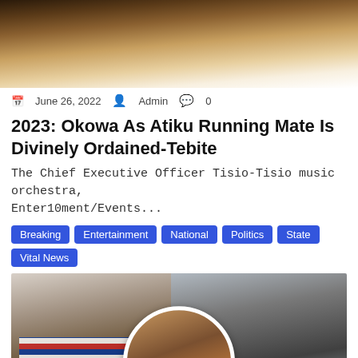[Figure (photo): Top cropped photo showing people in formal/traditional attire, partially visible]
June 26, 2022  Admin  0
2023: Okowa As Atiku Running Mate Is Divinely Ordained-Tebite
The Chief Executive Officer Tisio-Tisio music orchestra, Enter10ment/Events...
Breaking
Entertainment
National
Politics
State
Vital News
[Figure (photo): Composite photo of three people: left person in colorful Union Jack-style shirt with sunglasses, center person in circular frame wearing glasses and suit, right person with beard wearing light-colored top with sunglasses]